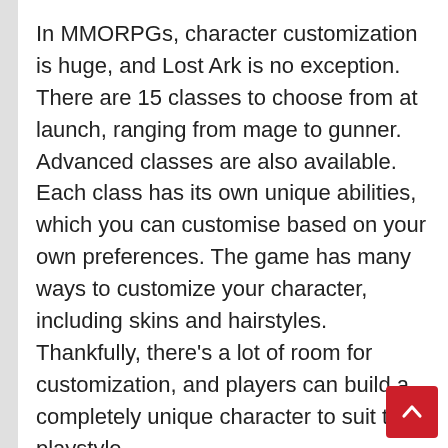In MMORPGs, character customization is huge, and Lost Ark is no exception. There are 15 classes to choose from at launch, ranging from mage to gunner. Advanced classes are also available. Each class has its own unique abilities, which you can customise based on your own preferences. The game has many ways to customize your character, including skins and hairstyles. Thankfully, there’s a lot of room for customization, and players can build a completely unique character to suit their playstyle.
The Closed Beta of Lost Ark has been extended by two days, from November 4 to 11. For those interested in joining the closed beta, you can learn more about the new features in